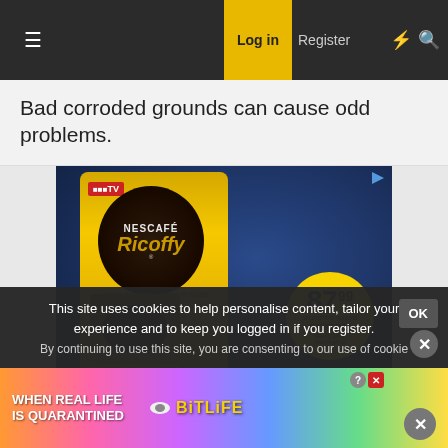≡  Log in  Register
Bad corroded grounds can cause odd problems.
[Figure (photo): Advertisement for Nescafe Ricoffy coffee product showing a yellow tin, a cup of black coffee, price badge showing 87.99 and SAVE R22, with 'SEE DEALS' and 'PicknPay' text at bottom]
This site uses cookies to help personalise content, tailor your experience and to keep you logged in if you register.
By continuing to use this site, you are consenting to our use of cookie
[Figure (photo): Advertisement for BitLife mobile game showing colorful rainbow background, emoji character with star eyes, and text 'WHEN REAL LIFE IS QUARANTINED BitLife']